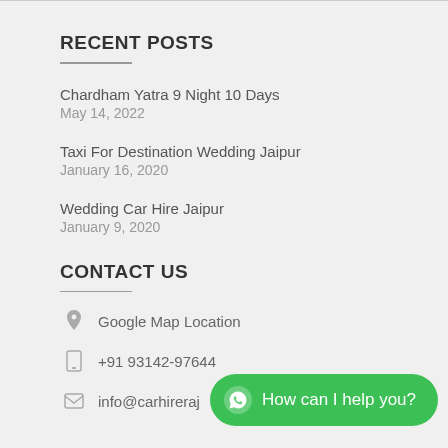RECENT POSTS
Chardham Yatra 9 Night 10 Days
May 14, 2022
Taxi For Destination Wedding Jaipur
January 16, 2020
Wedding Car Hire Jaipur
January 9, 2020
CONTACT US
Google Map Location
+91 93142-97644
info@carhireraj…
[Figure (other): WhatsApp chat button with text 'How can I help you?' on green rounded button]